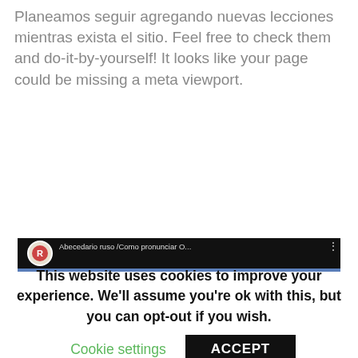Planeamos seguir agregando nuevas lecciones mientras exista el sitio. Feel free to check them and do-it-by-yourself! It looks like your page could be missing a meta viewport.
[Figure (screenshot): YouTube video thumbnail showing 'Abecedario ruso /Como pronunciar O...' with title 'Abecedario Ruso' and subtitle '¿Como pronunciar / Молоко / ma-la-có', with a red YouTube play button in the center.]
This website uses cookies to improve your experience. We'll assume you're ok with this, but you can opt-out if you wish.
Cookie settings    ACCEPT